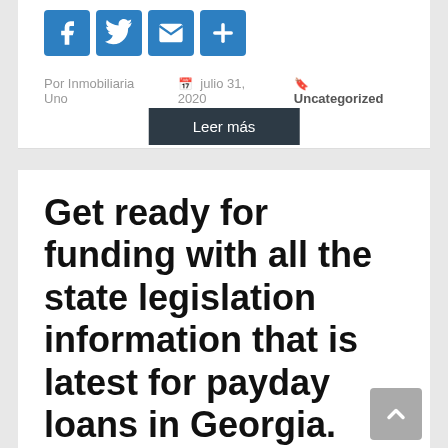[Figure (other): Social media sharing icons: Facebook, Twitter, Email, Share (blue rounded square buttons)]
Por Inmobiliaria Uno   julio 31, 2020   Uncategorized
Leer más
Get ready for funding with all the state legislation information that is latest for payday loans in Georgia.
Get ready for funding with all the state legislation